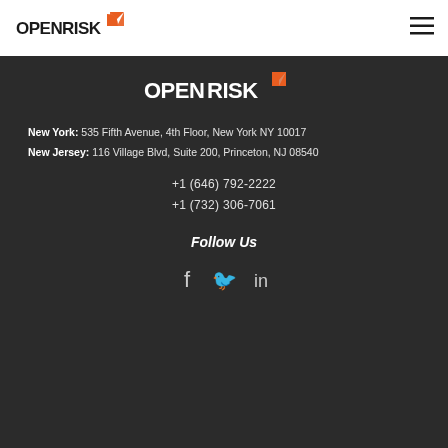[Figure (logo): OpenRisk logo in white navigation bar - orange R with OPENRISK text]
[Figure (logo): OpenRisk logo in dark footer section - white text with orange accent]
New York: 535 Fifth Avenue, 4th Floor, New York NY 10017
New Jersey: 116 Village Blvd, Suite 200, Princeton, NJ 08540
+1 (646) 792-2222
+1 (732) 306-7061
Follow Us
[Figure (illustration): Social media icons: Facebook (f), Twitter (bird), LinkedIn (in)]